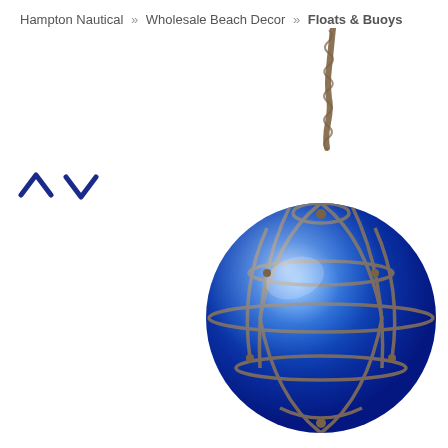Hampton Nautical » Wholesale Beach Decor » Floats & Buoys
[Figure (illustration): Navigation arrows (up chevron and down chevron) in dark blue, used for image gallery navigation]
[Figure (photo): A cobalt blue glass fishing float ball wrapped in a brown rope/jute net, hanging from a twisted rope against a white background]